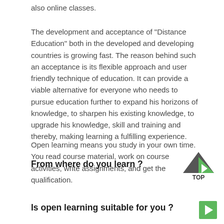also online classes.
The development and acceptance of "Distance Education" both in the developed and developing countries is growing fast. The reason behind such an acceptance is its flexible approach and user friendly technique of education. It can provide a viable alternative for everyone who needs to pursue education further to expand his horizons of knowledge, to sharpen his existing knowledge, to upgrade his knowledge, skill and training and thereby, making learning a fulfilling experience.
Open learning means you study in your own time. You read course material, work on course activities, write assignments, and get the qualification.
From where do you learn ?
Is open learning suitable for you ?